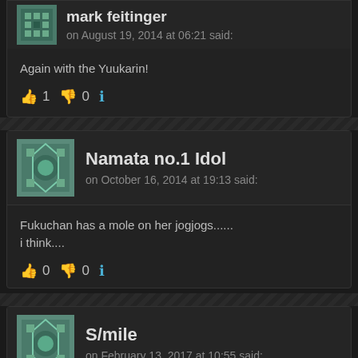mark feitinger on August 19, 2014 at 06:21 said:
Again with the Yuukarin!
👍 1 👎 0 ℹ
Namata no.1 Idol on October 16, 2014 at 19:13 said:
Fukuchan has a mole on her jogjogs......
i think....
👍 0 👎 0 ℹ
S/mile on February 13, 2017 at 10:55 said: